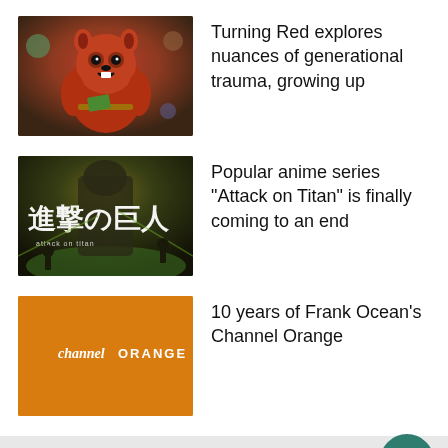[Figure (illustration): Thumbnail for Turning Red movie article - animated red panda character]
Turning Red explores nuances of generational trauma, growing up
[Figure (illustration): Thumbnail for Attack on Titan anime article - dark green atmospheric scene with Japanese kanji text]
Popular anime series "Attack on Titan" is finally coming to an end
[Figure (illustration): Thumbnail for Frank Ocean Channel Orange article - orange album cover with channel ORANGE text]
10 years of Frank Ocean's Channel Orange
Showcase
Six guiding questions to ask a potential college roommate